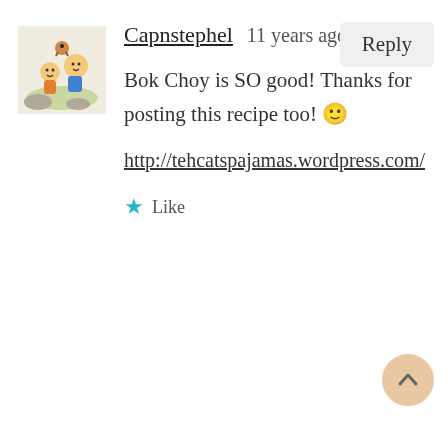[Figure (illustration): Cartoon avatar of characters (Capnstephel)]
Capnstephel   11 years ago
Reply
Bok Choy is SO good! Thanks for posting this recipe too! 🙂
http://tehcatspajamas.wordpress.com/
★ Like
[Figure (photo): Black and white photo avatar of CJ showing a cactus silhouette against sky]
CJ   11 years ago
Reply
You're welcome! And thanks for your comment. I like the happy toast